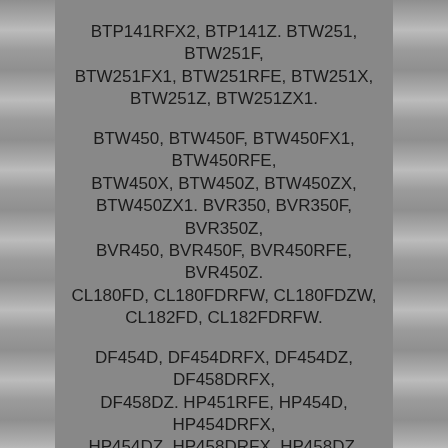BTP141RFX2, BTP141Z. BTW251, BTW251F, BTW251FX1, BTW251RFE, BTW251X, BTW251Z, BTW251ZX1.
BTW450, BTW450F, BTW450FX1, BTW450RFE, BTW450X, BTW450Z, BTW450ZX, BTW450ZX1. BVR350, BVR350F, BVR350Z, BVR450, BVR450F, BVR450RFE, BVR450Z. CL180FD, CL180FDRFW, CL180FDZW, CL182FD, CL182FDRFW.
DF454D, DF454DRFX, DF454DZ, DF458DRFX, DF458DZ. HP451RFE, HP454D, HP454DRFX, HP454DZ, HP458DRFX, HP458DZ. HR202D, HR202DRFX, HR202DZK, HR242DRFX, HR242DRFXV. JR120D, JR120DRF, JR120DZK, JR182DRF, JR182DZK.
LXDG01, LXDG01Z, LXDG01Z1, LXDT01, LXDT01Z, LXDT01Z1. LXPH01, LXPH01C1, LXPH01Z, LXPH03Z, LXPH05, LXPH05Z. ML184 (Flash Light), ML185, ML800, ML801. MUH263DRF, MUH263DZ, MUH401DRF, MUH401DZ, MUH401DRF, MUH401DZ,